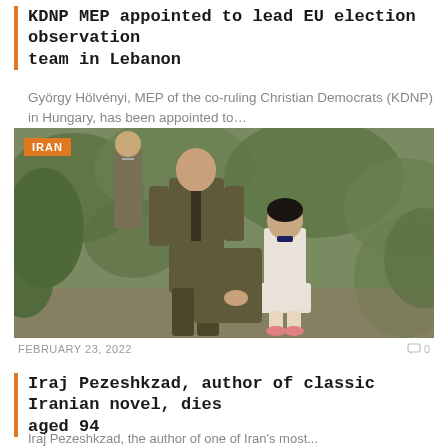KDNP MEP appointed to lead EU election observation team in Lebanon
György Hölvényi, MEP of the co-ruling Christian Democrats (KDNP) in Hungary, has been appointed to…
[Figure (photo): Vintage colorized photograph of a man in an olive suit sitting outdoors with a girl beside him, trees in background. IRAN badge overlay in top-left.]
FEBRUARY 23, 2022  🗨 0
Iraj Pezeshkzad, author of classic Iranian novel, dies aged 94
Iraj Pezeshkzad...